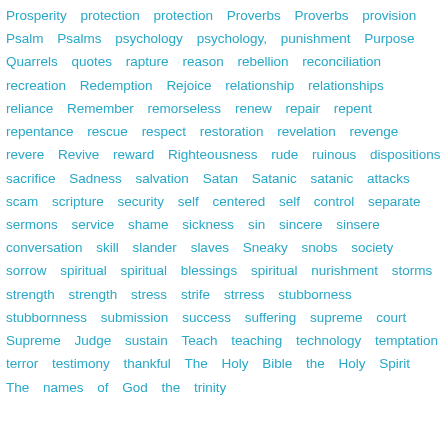Prosperity protection protection Proverbs Proverbs provision Psalm Psalms psychology psychology, punishment Purpose Quarrels quotes rapture reason rebellion reconciliation recreation Redemption Rejoice relationship relationships reliance Remember remorseless renew repair repent repentance rescue respect restoration revelation revenge revere Revive reward Righteousness rude ruinous dispositions sacrifice Sadness salvation Satan Satanic satanic attacks scam scripture security self centered self control separate sermons service shame sickness sin sincere sinsere conversation skill slander slaves Sneaky snobs society sorrow spiritual spiritual blessings spiritual nurishment storms strength strength stress strife strress stubborness stubbornness submission success suffering supreme court Supreme Judge sustain Teach teaching technology temptation terror testimony thankful The Holy Bible the Holy Spirit The names of God the trinity